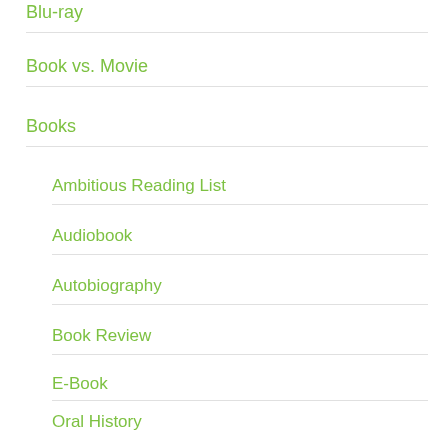Blu-ray
Book vs. Movie
Books
Ambitious Reading List
Audiobook
Autobiography
Book Review
E-Book
Oral History
Screenplay